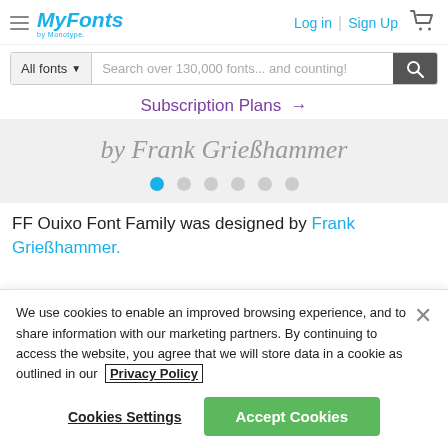[Figure (logo): MyFonts by Monotype logo in blue cursive script]
Log in | Sign Up
[Figure (other): Search bar with All fonts dropdown and search field reading 'Search over 130,000 fonts... and counting!']
Subscription Plans →
[Figure (other): Hero banner with italic text 'by Frank Grießhammer' on grey background with carousel dots]
FF Ouixo Font Family was designed by Frank Grießhammer.
We use cookies to enable an improved browsing experience, and to share information with our marketing partners. By continuing to access the website, you agree that we will store data in a cookie as outlined in our Privacy Policy
Cookies Settings
Accept Cookies